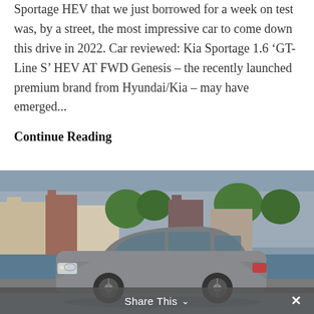Sportage HEV that we just borrowed for a week on test was, by a street, the most impressive car to come down this drive in 2022. Car reviewed: Kia Sportage 1.6 'GT-Line S' HEV AT FWD Genesis – the recently launched premium brand from Hyundai/Kia – may have emerged...
Continue Reading
[Figure (photo): A grey Nissan SUV (Qashqai) parked near a waterfront with European-style colourful buildings and green trees in the background.]